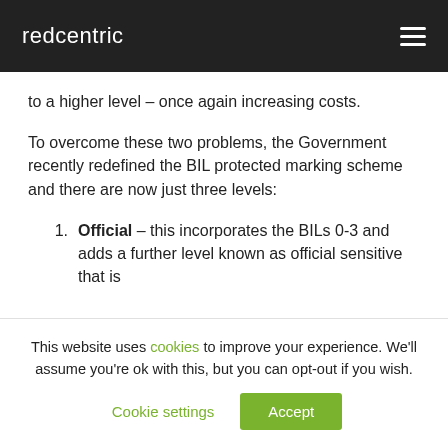redcentric
to a higher level – once again increasing costs.
To overcome these two problems, the Government recently redefined the BIL protected marking scheme and there are now just three levels:
Official – this incorporates the BILs 0-3 and adds a further level known as official sensitive that is
This website uses cookies to improve your experience. We'll assume you're ok with this, but you can opt-out if you wish.